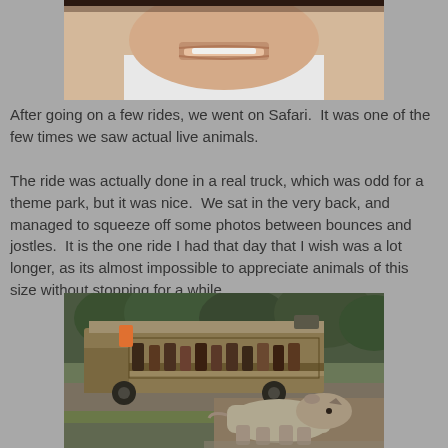[Figure (photo): Close-up photo of a child's face, showing mouth and chin area, wearing white shirt with red collar]
After going on a few rides, we went on Safari.  It was one of the few times we saw actual live animals.
The ride was actually done in a real truck, which was odd for a theme park, but it was nice.  We sat in the very back, and managed to squeeze off some photos between bounces and jostles.  It is the one ride I had that day that I wish was a lot longer, as its almost impossible to appreciate animals of this size without stopping for a while.
[Figure (photo): Photo of a safari truck with tourists on board passing by a rhinoceros walking on the ground, with trees in the background]